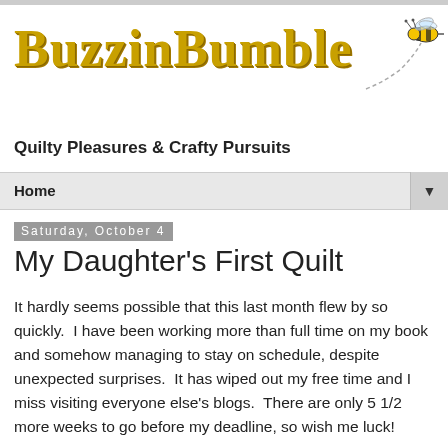BuzzinBumble
[Figure (illustration): Cartoon bumble bee with dashed flight path trail, black and yellow striped bee with wings]
Quilty Pleasures & Crafty Pursuits
Home ▼
Saturday, October 4
My Daughter's First Quilt
It hardly seems possible that this last month flew by so quickly.  I have been working more than full time on my book and somehow managing to stay on schedule, despite unexpected surprises.  It has wiped out my free time and I miss visiting everyone else's blogs.  There are only 5 1/2 more weeks to go before my deadline, so wish me luck!
I had to steal a little time today to crow though, because my